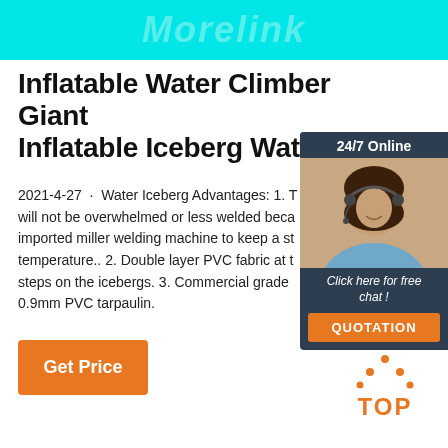[Figure (illustration): Cyan/turquoise top banner with watermark text 'Morelink' in white semi-transparent italic letters]
Inflatable Water Climber Giant Inflatable Iceberg Water ...
2021-4-27 · Water Iceberg Advantages: 1. T will not be overwhelmed or less welded beca imported miller welding machine to keep a st temperature.. 2. Double layer PVC fabric at t steps on the icebergs. 3. Commercial grade 0.9mm PVC tarpaulin.
[Figure (other): Chat widget panel with dark navy background, '24/7 Online' header, photo of woman with headset, 'Click here for free chat!' text, and orange QUOTATION button]
[Figure (other): Orange 'Get Price' button]
[Figure (logo): Orange 'TOP' logo with dotted triangle above the text]